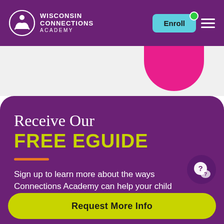Wisconsin Connections Academy
Receive Our FREE EGUIDE
Sign up to learn more about the ways Connections Academy can help your child
Request More Info